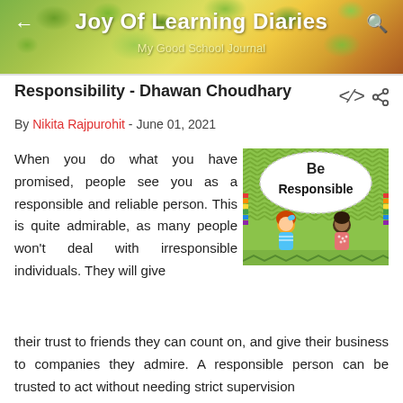Joy Of Learning Diaries — My Good School Journal
Responsibility - Dhawan Choudhary
By Nikita Rajpurohit - June 01, 2021
When you do what you have promised, people see you as a responsible and reliable person. This is quite admirable, as many people won't deal with irresponsible individuals. They will give their trust to friends they can count on, and give their business to companies they admire. A responsible person can be trusted to act without needing strict supervision
[Figure (illustration): Colorful illustration with green chevron background showing two cartoon children (a girl with red hair and a boy with dark skin) below a speech-bubble shape containing the text 'Be Responsible' in bold black lettering]